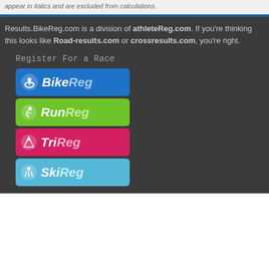appear in italics and are excluded from calculations.
Results.BikeReg.com is a division of athleteReg.com. If you're thinking this looks like Road-results.com or crossresults.com, you're right.
Register For a Race
[Figure (logo): BikeReg logo - blue rounded rectangle with cyclist icon and italic bold text BikeReg]
[Figure (logo): RunReg logo - green rounded rectangle with runner icon and italic bold text RunReg]
[Figure (logo): TriReg logo - red/pink rounded rectangle with triathlete icon and italic bold text TriReg]
[Figure (logo): SkiReg logo - light blue rounded rectangle with skier icon and italic bold text SkiReg]